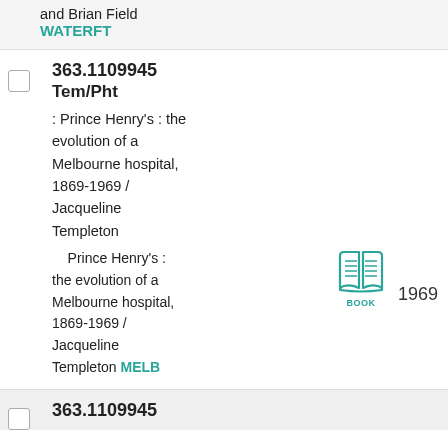and Brian Field
WATERFT
363.1109945 Tem/Pht : Prince Henry's : the evolution of a Melbourne hospital, 1869-1969 / Jacqueline Templeton
Prince Henry's : the evolution of a Melbourne hospital, 1869-1969 / Jacqueline Templeton MELB
BOOK 1969
363.1109945